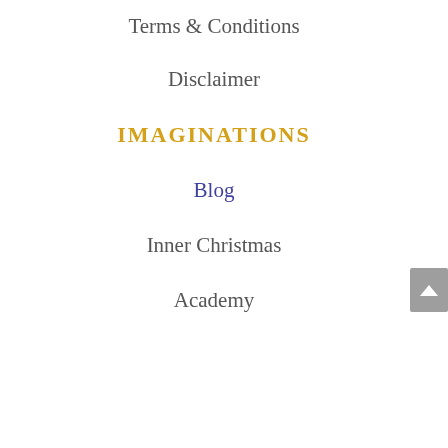Terms & Conditions
Disclaimer
Imaginations
Blog
Inner Christmas
Academy